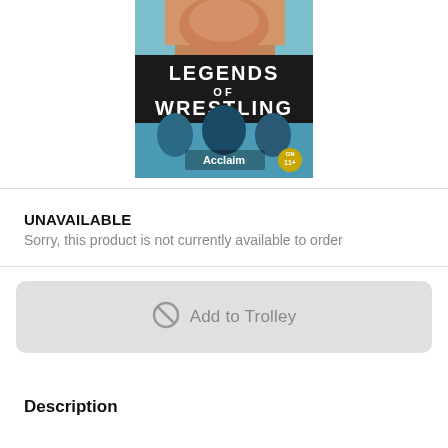[Figure (illustration): Legends of Wrestling video game cover art showing wrestlers and Acclaim logo on a blue background]
UNAVAILABLE
Sorry, this product is not currently available to order
[Figure (other): Disabled Add to Trolley button with a prohibition circle icon]
Description